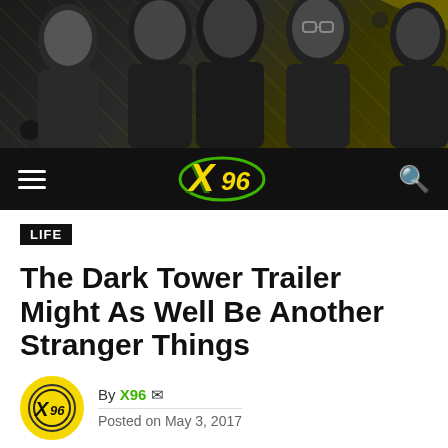[Figure (photo): Hero band photo showing five men against a dark geometric patterned background in grayscale]
X96 navigation bar with hamburger menu, X96 logo, and search icon
LIFE
The Dark Tower Trailer Might As Well Be Another Stranger Things
By X96  Posted on May 3, 2017
[Figure (infographic): Social share buttons: Facebook, Twitter, WhatsApp, Pinterest, Email, Comment]
FOR ALL THE HYPE, IT MIGHT AS WELL BE STRAIGHT TO VOD